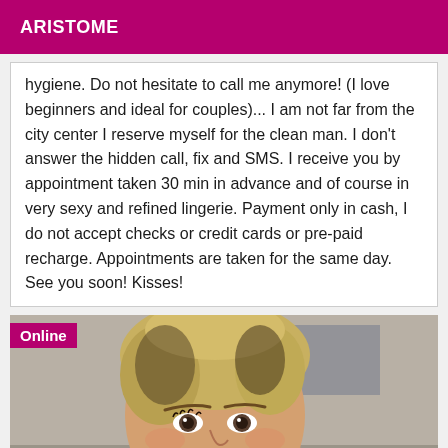ARISTOME
hygiene. Do not hesitate to call me anymore! (I love beginners and ideal for couples)... I am not far from the city center I reserve myself for the clean man. I don't answer the hidden call, fix and SMS. I receive you by appointment taken 30 min in advance and of course in very sexy and refined lingerie. Payment only in cash, I do not accept checks or credit cards or pre-paid recharge. Appointments are taken for the same day. See you soon! Kisses!
[Figure (photo): Close-up photo of a blonde woman with an updo hairstyle, looking at the camera. An 'Online' badge is overlaid in the top-left corner.]